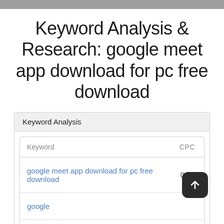Keyword Analysis & Research: google meet app download for pc free download
Keyword Analysis
| Keyword | CPC |
| --- | --- |
| google meet app download for pc free download | 0.43 |
| google |  |
| meet | 0.62 |